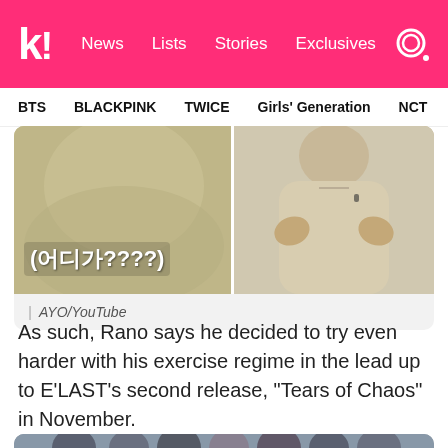koreaboo | News  Lists  Stories  Exclusives
BTS  BLACKPINK  TWICE  Girls' Generation  NCT  aespa
[Figure (screenshot): Split screenshot: left side shows Korean text overlay reading (어디가????) on a music video still; right side shows a man in a beige sweater gesturing with hands]
| AYO/YouTube
As such, Rano says he decided to try even harder with his exercise regime in the lead up to E'LAST's second release, "Tears of Chaos" in November.
[Figure (photo): Group photo of E'LAST members, partially visible at the bottom of the page]